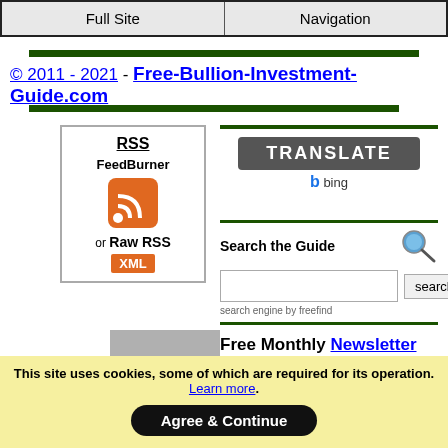Full Site | Navigation
© 2011 - 2021 - Free-Bullion-Investment-Guide.com
[Figure (other): RSS FeedBurner subscription box with orange RSS icon and XML badge, and Raw RSS option]
[Figure (other): Translate button with Bing branding]
[Figure (other): Search the Guide input with search button, powered by freefind]
Free Monthly Newsletter Subscription
This site uses cookies, some of which are required for its operation. Learn more. Agree & Continue